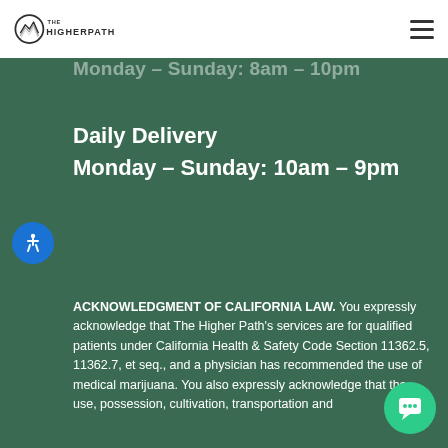[Figure (logo): The Higher Path logo — circular mountain/wave icon on left, text 'THE HIGHER PATH' in bold sans-serif on right]
Monday – Sunday: 8am – 10pm
Daily Delivery
Monday – Sunday: 10am – 9pm
[Figure (other): Blue circular accessibility icon button with person/wheelchair symbol]
ACKNOWLEDGMENT OF CALIFORNIA LAW. You expressly acknowledge that The Higher Path's services are for qualified patients under California Health & Safety Code Section 11362.5, 11362.7, et seq., and a physician has recommended the use of medical marijuana. You also expressly acknowledge that the use, possession, cultivation, transportation and
[Figure (other): Green circular live chat button with speech bubble / headset icon]